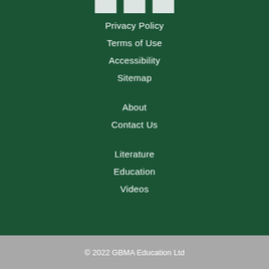[Figure (other): Three small white icon boxes at the top (social media icons)]
Privacy Policy
Terms of Use
Accessibility
Sitemap
About
Contact Us
Literature
Education
Videos
© 2022 GBMA Education Ltd